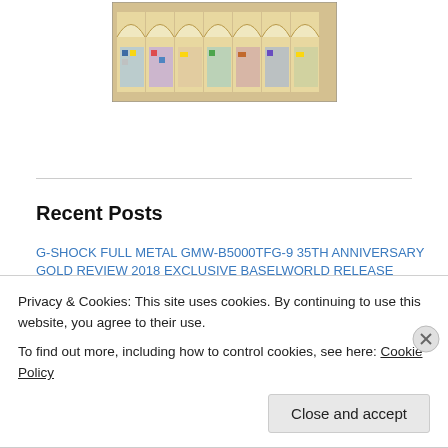[Figure (photo): Interior of a watch/jewelry store with arched glass display cases lit from within, showing multiple watches and accessories on display shelves]
Recent Posts
G-SHOCK FULL METAL GMW-B5000TFG-9 35TH ANNIVERSARY GOLD REVIEW 2018 EXCLUSIVE BASELWORLD RELEASE
CASIO G-SHOCK GMW-B5000 FULL METAL REVIEW 2018 EXCLUSIVE BASELWORLD RELEASE
ETERNA KONTIKI BRONZE MANUFACTURE LIMITED EDITION 1291.78.40.4122: HANDS ON
Privacy & Cookies: This site uses cookies. By continuing to use this website, you agree to their use.
To find out more, including how to control cookies, see here: Cookie Policy